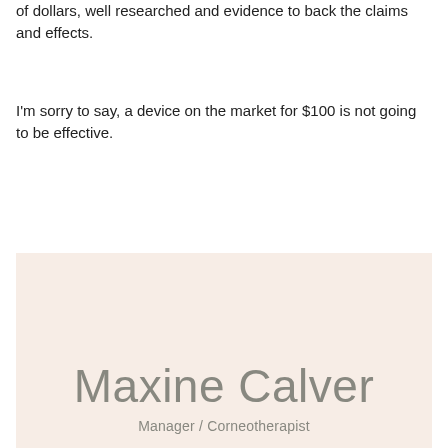of dollars, well researched and evidence to back the claims and effects.
I'm sorry to say, a device on the market for $100 is not going to be effective.
Maxine Calver
Manager / Corneotherapist